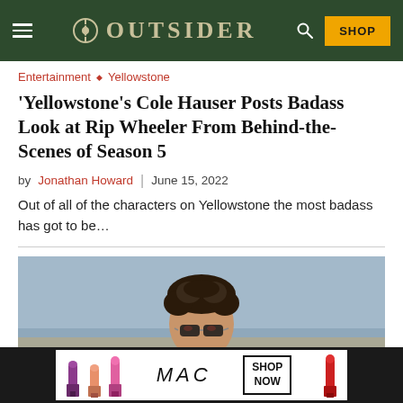OUTSIDER
Entertainment ◇ Yellowstone
'Yellowstone's Cole Hauser Posts Badass Look at Rip Wheeler From Behind-the-Scenes of Season 5
by Jonathan Howard | June 15, 2022
Out of all of the characters on Yellowstone the most badass has got to be…
[Figure (photo): Portrait photo of a man with curly hair wearing sunglasses, outdoors with blurred blue-grey background]
[Figure (photo): MAC cosmetics advertisement showing lipsticks in purple, pink, and red colors with SHOP NOW button]